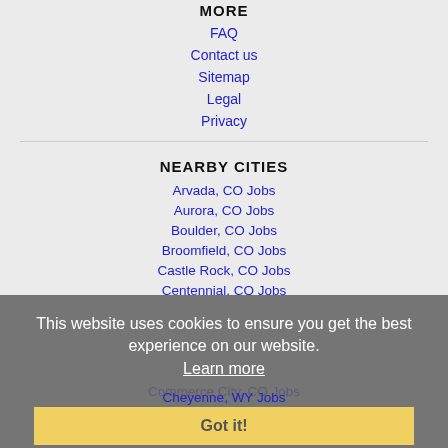MORE
FAQ
Contact us
Sitemap
Legal
Privacy
NEARBY CITIES
Arvada, CO Jobs
Aurora, CO Jobs
Boulder, CO Jobs
Broomfield, CO Jobs
Castle Rock, CO Jobs
Centennial, CO Jobs
Cheyenne, WY Jobs
Colorado Springs, CO Jobs
Commerce City, CO Jobs
Denver, CO Jobs
This website uses cookies to ensure you get the best experience on our website. Learn more Got it!